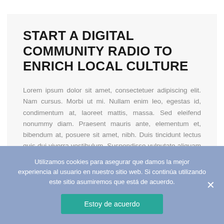START A DIGITAL COMMUNITY RADIO TO ENRICH LOCAL CULTURE
Lorem ipsum dolor sit amet, consectetuer adipiscing elit. Nam cursus. Morbi ut mi. Nullam enim leo, egestas id, condimentum at, laoreet mattis, massa. Sed eleifend nonummy diam. Praesent mauris ante, elementum et, bibendum at, posuere sit amet, nibh. Duis tincidunt lectus quis dui viverra vestibulum. Suspendisse vulputate aliquam dui.Excepteur sint occaecat cupidatat non
Utilizamos cookies para asegurar que damos la mejor experiencia al usuario en nuestro sitio web. Si continúa utilizando este sitio asumiremos que está de acuerdo.
Estoy de acuerdo